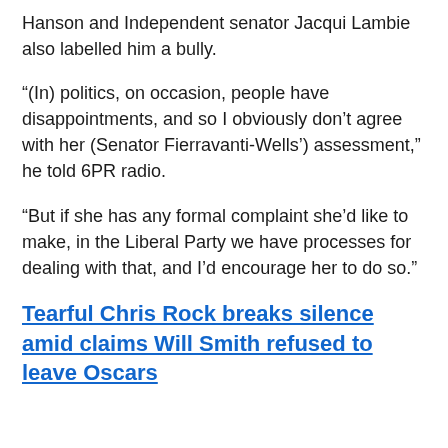Hanson and Independent senator Jacqui Lambie also labelled him a bully.
“(In) politics, on occasion, people have disappointments, and so I obviously don’t agree with her (Senator Fierravanti-Wells’) assessment,” he told 6PR radio.
“But if she has any formal complaint she’d like to make, in the Liberal Party we have processes for dealing with that, and I’d encourage her to do so.”
Tearful Chris Rock breaks silence amid claims Will Smith refused to leave Oscars